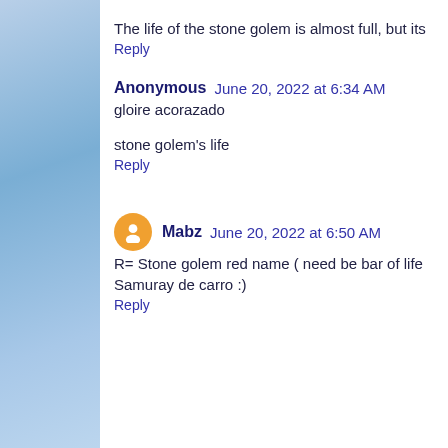The life of the stone golem is almost full, but its
Reply
Anonymous  June 20, 2022 at 6:34 AM
gloire acorazado
stone golem's life
Reply
Mabz  June 20, 2022 at 6:50 AM
R= Stone golem red name ( need be bar of life Samuray de carro :)
Reply